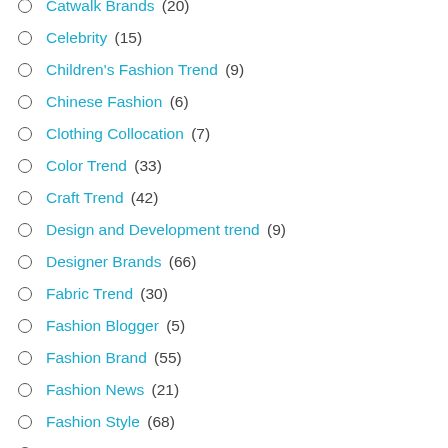Catwalk Brands (20)
Celebrity (15)
Children's Fashion Trend (9)
Chinese Fashion (6)
Clothing Collocation (7)
Color Trend (33)
Craft Trend (42)
Design and Development trend (9)
Designer Brands (66)
Fabric Trend (30)
Fashion Blogger (5)
Fashion Brand (55)
Fashion News (21)
Fashion Style (68)
Fashion Trend Analysis (130)
Fashion Trends (320)